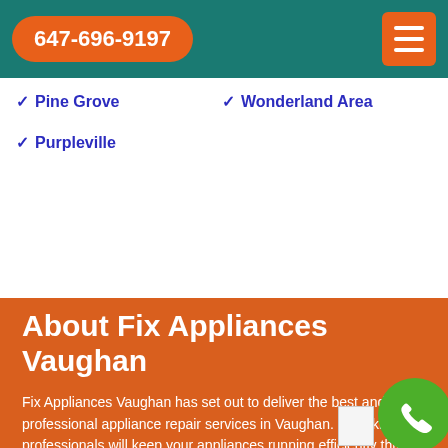647-696-9197
Pine Grove
Wonderland Area
Purpleville
About Fix Appliances Vaughan
Fix Appliances Vaughan has set out to deliver the best and professional appliance repair services in Vaughan. Our skilled professionals will keep your appliances running efficiently through years of experience.